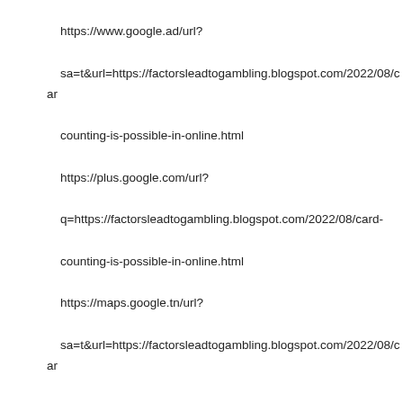https://www.google.ad/url?
sa=t&url=https://factorsleadtogambling.blogspot.com/2022/08/card-counting-is-possible-in-online.html
https://plus.google.com/url?
q=https://factorsleadtogambling.blogspot.com/2022/08/card-counting-is-possible-in-online.html
https://maps.google.tn/url?
sa=t&url=https://factorsleadtogambling.blogspot.com/2022/08/card-counting-is-possible-in-online.html
https://maps.google.sn/url?
sa=t&url=https://factorsleadtogambling.blogspot.com/2022/08/card-counting-is-possible-in-online.html
https://maps.google.sk/url?
sa=t&url=https://factorsleadtogambling.blogspot.com/2022/08/card-counting-is-possible-in-online.html
https://maps.google.si/url?
sa=t&url=https://factorsleadtogambling.blogspot.com/2022/08/card-counting-is-possible-in-online.html
https://maps.google.sh/url?
sa=t&url=https://factorsleadtogambling.blogspot.com/2022/08/card-